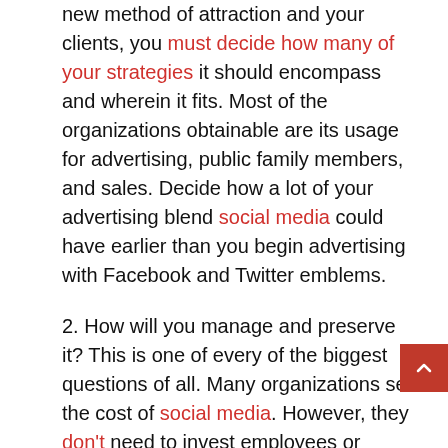new method of attraction and your clients, you must decide how many of your strategies it should encompass and wherein it fits. Most of the organizations obtainable are its usage for advertising, public family members, and sales. Decide how a lot of your advertising blend social media could have earlier than you begin advertising with Facebook and Twitter emblems.
2. How will you manage and preserve it? This is one of every of the biggest questions of all. Many organizations see the cost of social media. However, they don't need to invest employees or capital into it. Social media might not be proper for every organization, but it is extended-term funding for those groups that it's miles right for. A corporation shouldn't set up Facebook and Twitter profiles after which prevent engaging with their clients. It takes constant paintings and effort. It would not suggest